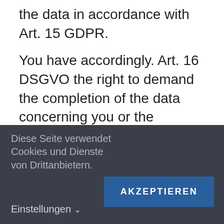the data in accordance with Art. 15 GDPR.
You have accordingly. Art. 16 DSGVO the right to demand the completion of the data concerning you or the correction of the incorrect data concerning you.
In accordance with Art. 18 GDPR th...
Diese Seite verwendet Cookies und Dienste von Drittanbietern.
Einstellungen ∨
AKZEPTIEREN